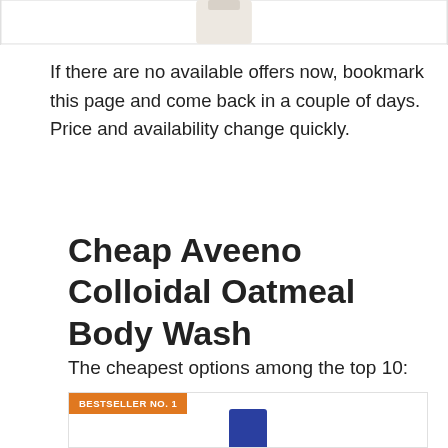[Figure (photo): Partial product image at top of page, cropped, showing bottom portion of a product bottle with light/cream color tones against white background]
If there are no available offers now, bookmark this page and come back in a couple of days. Price and availability change quickly.
Cheap Aveeno Colloidal Oatmeal Body Wash
The cheapest options among the top 10:
[Figure (photo): BESTSELLER NO. 1 badge in orange with a partial product image (blue bottle) visible at the bottom of the card]